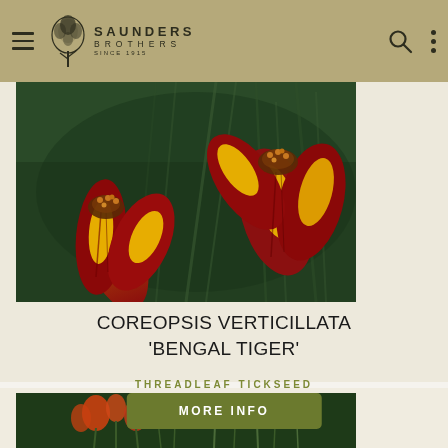Saunders Brothers Since 1915
[Figure (photo): Close-up photograph of Coreopsis verticillata 'Bengal Tiger' flowers with red and yellow striped petals against dark green foliage background]
COREOPSIS VERTICILLATA 'BENGAL TIGER'
THREADLEAF TICKSEED
MORE INFO
[Figure (photo): Bottom partial view of red/orange flowering plants with green foliage]